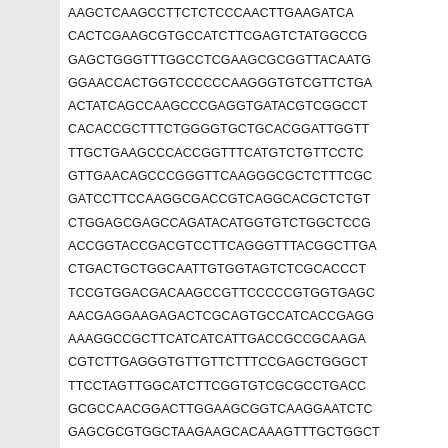AAGCTCAAGCCTTCTCTCCCAACTTGAAGATCA
CACTCGAAGCGTGCCATCTTCGAGTCTATGGCCG
GAGCTGGGTTTGGCCTCGAAGCGCGGTTACAATG
GGAACCACTGGTCCCCCCAAGGGTGTCGTTCTGA
ACTATCAGCCAAGCCCGAGGTGATACGTCGGCCT
CACACCGCTTTCTGGGGTGCTGCACGGATTGGTT
TTGCTGAAGCCCACCGGTTTCATGTCTGTTCCTC
GTTGAACAGCCCGGGTTCAAGGGCGCTCTTTCGC
GATCCTTCCAAGGCGACCGTCAGGCACGCTCTGT
CTGGAGCGAGCCAGATACATGGTGTCTGGCTCCG
ACCGGTACCGACGTCCTTCAGGGTTACGGCTTGA
CTGACTGCTGGCAATTGTGGTAGTCTCGCACCCT
TCCGTGGACGACAAGCCGTTCCCCCGTGGTGAGC
AACGAGGAAGAGACTCGCAGTGCCATCACCGAGG
AAAGGCCGCTTCATCATCATTGACCGCCGCAAGA
CGTCTTGAGGGTGTTGTTCTTTCCGAGCTGGGCT
TTCCTAGTTGGCATCTTCGGTGTCGCGCCTGACC
GCGCCAACGGACTTGGAAGCGGTCAAGGAATCTC
GAGCGCGTGGCTAAGAAGCACAAAGTTTGCTGGCT